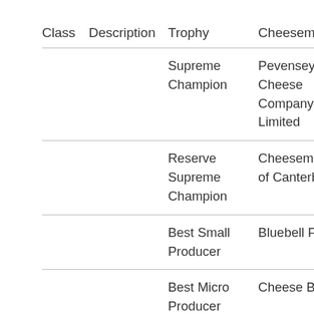| Class | Description | Trophy | Cheesemaker | Cheese |
| --- | --- | --- | --- | --- |
|  |  | Supreme Champion | Pevensey Cheese Company Limited | Pevensey Bl... |
|  |  | Reserve Supreme Champion | Cheesemakers of Canterbury | Ashmore Farmhouse |
|  |  | Best Small Producer | Bluebell Falls | Bluebell Falls Goats Chees... |
|  |  | Best Micro Producer | Cheese Bothy | White Lagga... |
|  |  | Best English Cheese | Pevensey Cheese Company... | Pevensey Bl... |